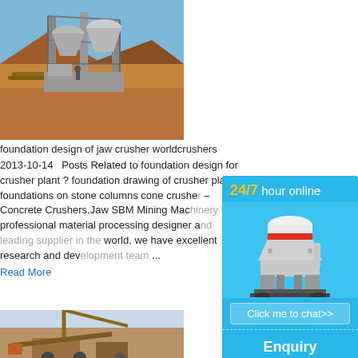[Figure (photo): Outdoor mining/crushing plant with large industrial cone crushers and conveyor belts against a blue sky and red-earth landscape.]
foundation design of jaw crusher worldcrushers
2013-10-14   Posts Related to foundation design for crusher plant ? foundation drawing of crusher plant foundations on stone columns cone crusher – Concrete Crushers,Jaw SBM Mining Machinery is a professional material processing designer and world, we have excellent research and deve ...
Read More
[Figure (photo): Industrial crane and construction/mining equipment at a worksite.]
[Figure (infographic): Sidebar advertisement showing '24/7 hour online' text in yellow and white, a white cone crusher machine illustration on blue background, a 'Click me to chat>>' button, an 'Enquiry' section, and 'limingjlmofen' text.]